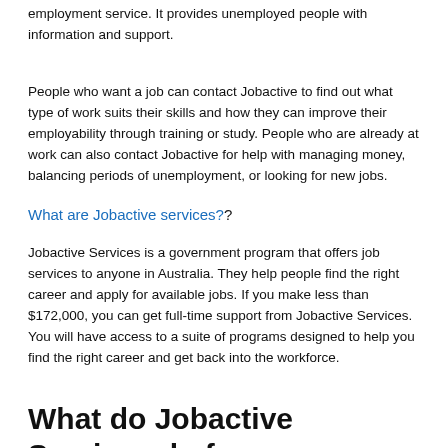employment service. It provides unemployed people with information and support.
People who want a job can contact Jobactive to find out what type of work suits their skills and how they can improve their employability through training or study. People who are already at work can also contact Jobactive for help with managing money, balancing periods of unemployment, or looking for new jobs.
What are Jobactive services?
Jobactive Services is a government program that offers job services to anyone in Australia. They help people find the right career and apply for available jobs. If you make less than $172,000, you can get full-time support from Jobactive Services. You will have access to a suite of programs designed to help you find the right career and get back into the workforce.
What do Jobactive Services do for